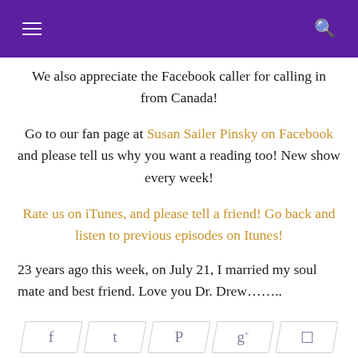≡  🔍
We also appreciate the Facebook caller for calling in from Canada!
Go to our fan page at Susan Sailer Pinsky on Facebook and please tell us why you want a reading too!  New show every week!
Rate us on iTunes, and please tell a friend! Go back and listen to previous episodes on Itunes!
23 years ago this week, on July 21, I married my soul mate and best friend.  Love you Dr. Drew……..
[Figure (other): Social sharing buttons: Facebook, Twitter, Pinterest, Google+, Comment]